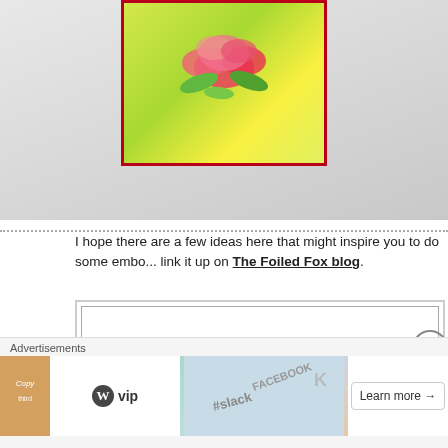[Figure (photo): Photo of a handmade greeting card with colorful floral design (pink/red flowers on yellow-green background) with a dark red border, displayed on a light grey surface.]
I hope there are a few ideas here that might inspire you to do some embo... link it up on The Foiled Fox blog.
[Figure (other): Promotional banner reading 'Enter-Share-Chance To...' with subtitle '3 - $50 gift certificates will be av...']
Supplies
Stamps: playful, snippets
[Figure (other): Advertisement banner with WordPress VIP logo, social media icons, and 'Learn more' call-to-action button.]